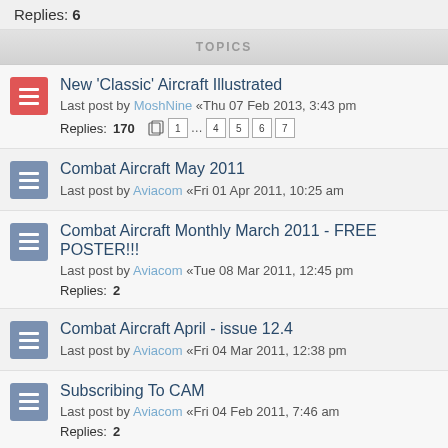Replies: 6
TOPICS
New 'Classic' Aircraft Illustrated
Last post by MoshNine «Thu 07 Feb 2013, 3:43 pm
Replies: 170
Combat Aircraft May 2011
Last post by Aviacom «Fri 01 Apr 2011, 10:25 am
Combat Aircraft Monthly March 2011 - FREE POSTER!!!
Last post by Aviacom «Tue 08 Mar 2011, 12:45 pm
Replies: 2
Combat Aircraft April - issue 12.4
Last post by Aviacom «Fri 04 Mar 2011, 12:38 pm
Subscribing To CAM
Last post by Aviacom «Fri 04 Feb 2011, 7:46 am
Replies: 2
Did it ever appear?
Last post by Unknown74 «Sun 09 Jan 2011, 8:34 pm